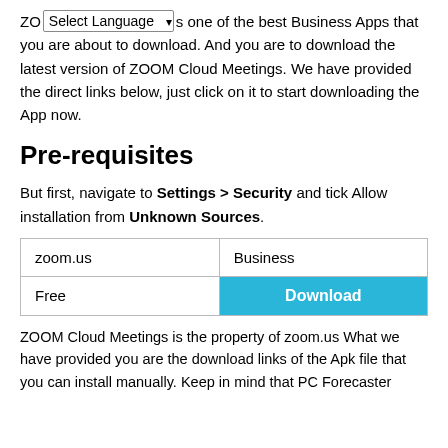ZOOM [Select Language ▾] s one of the best Business Apps that you are about to download. And you are to download the latest version of ZOOM Cloud Meetings. We have provided the direct links below, just click on it to start downloading the App now.
Pre-requisites
But first, navigate to Settings > Security and tick Allow installation from Unknown Sources.
| zoom.us | Business |
| Free | Download |
ZOOM Cloud Meetings is the property of zoom.us What we have provided you are the download links of the Apk file that you can install manually. Keep in mind that PC Forecaster